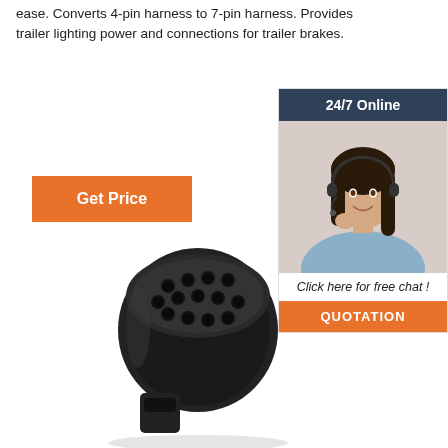ease. Converts 4-pin harness to 7-pin harness. Provides trailer lighting power and connections for trailer brakes.
[Figure (other): Orange 'Get Price' button]
[Figure (other): Sidebar widget with dark header '24/7 Online', photo of a woman with headset, italic text 'Click here for free chat !' and orange QUOTATION button]
[Figure (photo): Black plastic trailer connector adapter plug with multiple pin holes, product photo on white background]